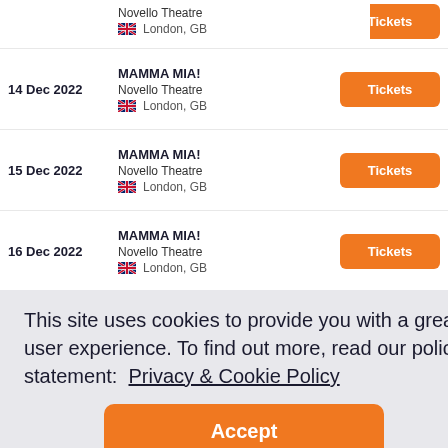Novello Theatre, London, GB – Tickets
14 Dec 2022 – MAMMA MIA! – Novello Theatre – London, GB – Tickets
15 Dec 2022 – MAMMA MIA! – Novello Theatre – London, GB – Tickets
16 Dec 2022 – MAMMA MIA! – Novello Theatre – London, GB – Tickets
17 Dec 2022 – MAMMA MIA! – Tickets
This site uses cookies to provide you with a great user experience. To find out more, read our policy statement:  Privacy & Cookie Policy
Accept